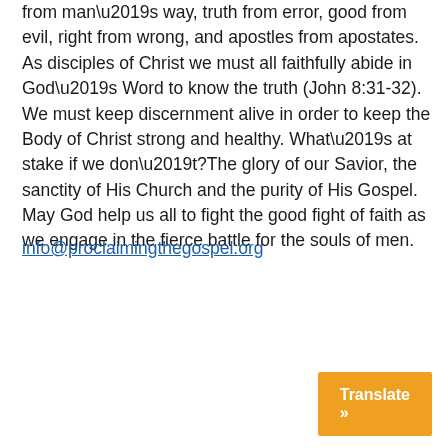from man's way, truth from error, good from evil, right from wrong, and apostles from apostates. As disciples of Christ we must all faithfully abide in God's Word to know the truth (John 8:31-32). We must keep discernment alive in order to keep the Body of Christ strong and healthy. What's at stake if we don't?The glory of our Savior, the sanctity of His Church and the purity of His Gospel. May God help us all to fight the good fight of faith as we engage in the fierce battle for the souls of men.
info@proclaimingthegospel.org